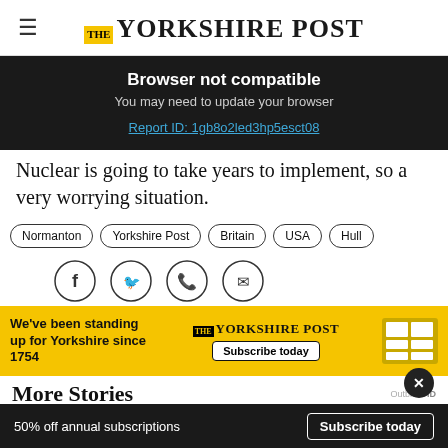THE YORKSHIRE POST
Browser not compatible
You may need to update your browser
Report ID: 1gb8o2led3hp5esct08
Nuclear is going to take years to implement, so a very worrying situation.
Normanton
Yorkshire Post
Britain
USA
Hull
[Figure (other): Social share icons: Facebook, Twitter, Phone, Email]
[Figure (other): Yorkshire Post advertisement: We've been standing up for Yorkshire since 1754. Subscribe today.]
More Stories
50% off annual subscriptions   Subscribe today